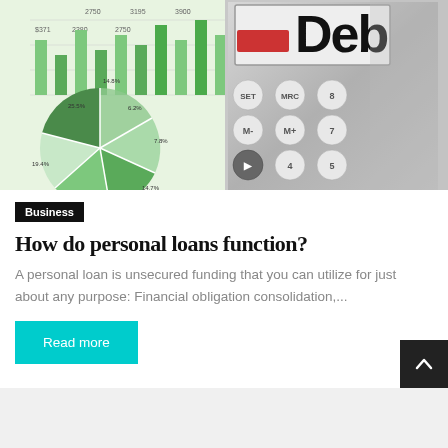[Figure (photo): Hero image showing financial charts (bar chart and pie chart) alongside a calculator displaying 'Debt' text, representing personal loan and debt concepts]
Business
How do personal loans function?
A personal loan is unsecured funding that you can utilize for just about any purpose: Financial obligation consolidation,...
Read more